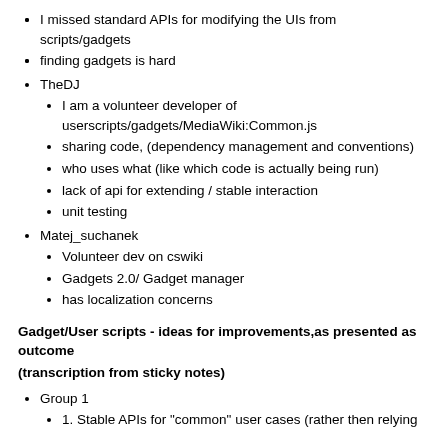I missed standard APIs for modifying the UIs from scripts/gadgets
finding gadgets is hard
TheDJ
I am a volunteer developer of userscripts/gadgets/MediaWiki:Common.js
sharing code, (dependency management and conventions)
who uses what (like which code is actually being run)
lack of api for extending / stable interaction
unit testing
Matej_suchanek
Volunteer dev on cswiki
Gadgets 2.0/ Gadget manager
has localization concerns
Gadget/User scripts - ideas for improvements,as presented as outcome
(transcription from sticky notes)
Group 1
1. Stable APIs for "common" user cases (rather then relying